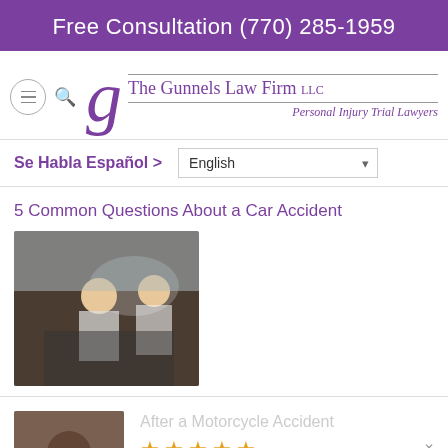Free Consultation (770) 285-1959
[Figure (logo): The Gunnels Law Firm LLC logo with stylized G and text 'Personal Injury Trial Lawyers']
Se Habla Español >
5 Common Questions About a Car Accident
[Figure (photo): Two women in a car, smiling]
After a Motorcycle Accident
5 star rating by Robert Wade
[Figure (photo): Man in red shirt, review photo]